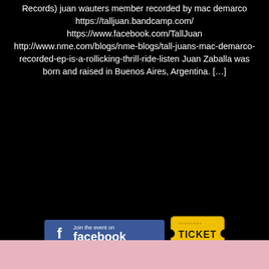Records) juan wauters member recorded by mac demarco https://talljuan.bandcamp.com/ https://www.facebook.com/TallJuan http://www.nme.com/blogs/nme-blogs/tall-juans-mac-demarco-recorded-ep-is-a-rollicking-thrill-ride-listen Juan Zaballa was born and raised in Buenos Aires, Argentina. […]
[Figure (other): Facebook 'Join the event on facebook' button (blue with Facebook logo) and a yellow ticket graphic with 'TICKET' text]
[Figure (illustration): Event poster for 'GONZAI NIGHT' featuring 'LA MVERTE' and 'TEKNOMOM', presented by 'LES ACTIONNAIRES & GONZAI'. Dark background with teal/pink lightning bolt decorations and a figure with boomboxes.]